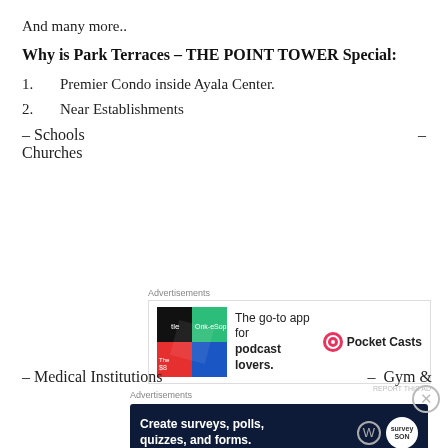And many more..
Why is Park Terraces – THE POINT TOWER Special:
1.    Premier Condo inside Ayala Center.
2.    Near Establishments
– Schools                                               –
Churches
[Figure (screenshot): Advertisement banner: Pocket Casts app promotion - 'The go-to app for podcast lovers.']
– Medical Institutions                                  –    Gym &
[Figure (screenshot): Advertisement banner: WordPress survey tool - 'Create surveys, polls, quizzes, and forms.']